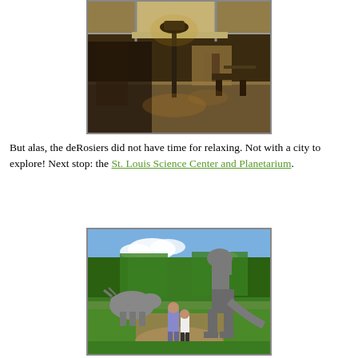[Figure (photo): Interior of a large atrium restaurant or hotel lobby with a street lamp in the center, high glass ceiling, warm lighting, tables and chairs visible in the background.]
But alas, the deRosiers did not have time for relaxing. Not with a city to explore! Next stop: the St. Louis Science Center and Planetarium.
[Figure (photo): Outdoor photo of two people (adult and child) standing in front of large dinosaur statues, including a T-Rex and a Triceratops, surrounded by trees and greenery at the St. Louis Science Center.]